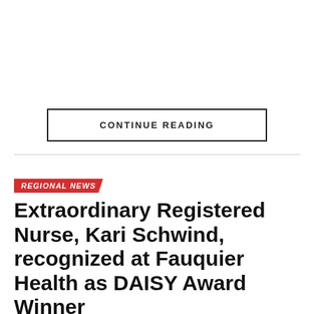CONTINUE READING
REGIONAL NEWS
Extraordinary Registered Nurse, Kari Schwind, recognized at Fauquier Health as DAISY Award Winner
Published 4 weeks ago on August 8, 2022
By PRESS RELEASE